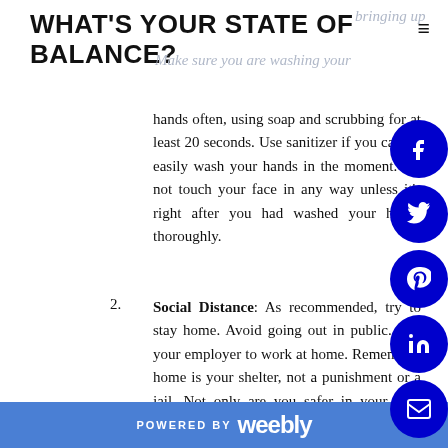WHAT'S YOUR STATE OF BALANCE?
hands often, using soap and scrubbing for at least 20 seconds. Use sanitizer if you cannot easily wash your hands in the moment. Do not touch your face in any way unless it's right after you had washed your hands thoroughly.
2. Social Distance: As recommended, try to stay home. Avoid going out in public. Ask your employer to work at home. Remember, home is your shelter, not a punishment or a jail. Not only are you safer in your own home, we are doing our part to flatten the curve by minimizing spread of infection.
POWERED BY weebly